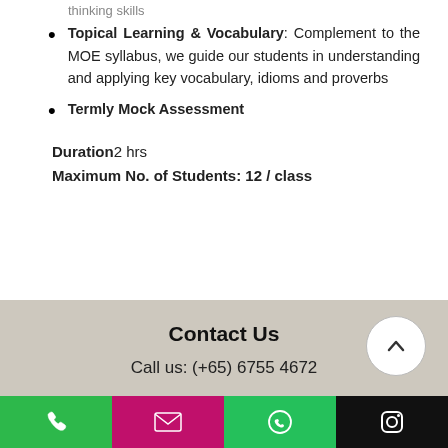thinking skills
Topical Learning & Vocabulary: Complement to the MOE syllabus, we guide our students in understanding and applying key vocabulary, idioms and proverbs
Termly Mock Assessment
Duration2 hrs
Maximum No. of Students: 12 / class
Contact Us
Call us: (+65) 6755 4672